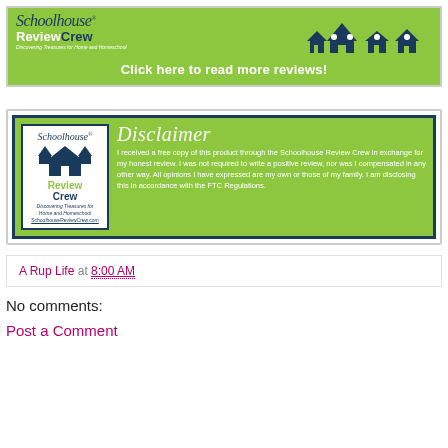[Figure (logo): Schoolhouse Review Crew banner with green background, logo with house icons and text 'Click here to read more reviews!']
[Figure (infographic): Schoolhouse Review Crew disclaimer box with green background, logo on left and disclaimer text on right reading: I received a free copy of this product through the Schoolhouse Review Crew in exchange for my honest review. I was not required to write a positive review, nor was I compensated in any other way. All opinions I have expressed are my own or those of my family. I am disclosing this in accordance with the FTC Regulations.]
A Rup Life at 8:00 AM
No comments:
Post a Comment